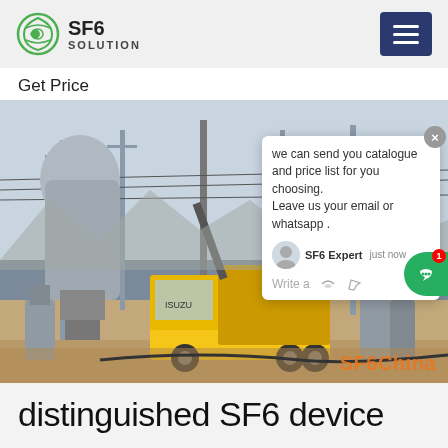SF6 SOLUTION
Get Price
[Figure (photo): SF6 electrical substation with a yellow ISUZU truck and high-voltage equipment, with a chat popup overlay showing 'we can send you catalogue and price list for you choosing. Leave us your email or whatsapp .' and SF6China watermark]
distinguished SF6 device